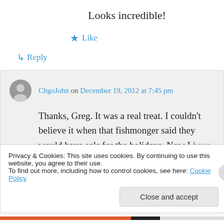Looks incredible!
★ Like
↳ Reply
ChgoJohn on December 19, 2012 at 7:45 pm
Thanks, Greg. It was a real treat. I couldn't believe it when that fishmonger said they would have eels for the holidays. Now I have to ask him if they've anything special
Privacy & Cookies: This site uses cookies. By continuing to use this website, you agree to their use.
To find out more, including how to control cookies, see here: Cookie Policy
Close and accept